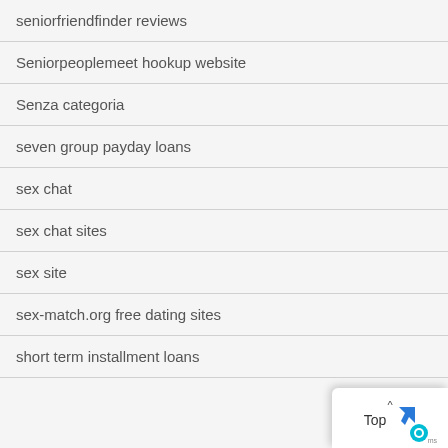seniorfriendfinder reviews
Seniorpeoplemeet hookup website
Senza categoria
seven group payday loans
sex chat
sex chat sites
sex site
sex-match.org free dating sites
short term installment loans